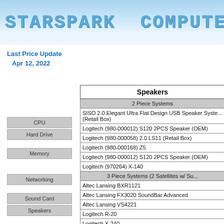STARSPARK COMPUTER
Last Price Update
Apr 12, 2022
CPU
Hard Drive
Memory
Networking
Sound Card
Speakers
| Speakers |
| --- |
| 2 Piece Systems |
| SISO 2.0 Elegant Ultra Flat Design USB Speaker System (Retail Box) |
| Logitech (980-000012) S120 2PCS Speaker (OEM) |
| Logitech (980-000058) 2.0 LS11 (Retail Box) |
| Logitech (980-000168) Z5 |
| Logitech (980-000012) S120 2PCS Speaker (OEM) |
| Logitech (970264) X-140 |
| 3 Piece Systems (2 Satellites w/ Su... |
| Altec Lansing BXR1121 |
| Altec Lansing FX3020 SoundBar Advanced |
| Altec Lansing VS4221 |
| Logitech R-20 |
| Logitech X-240 |